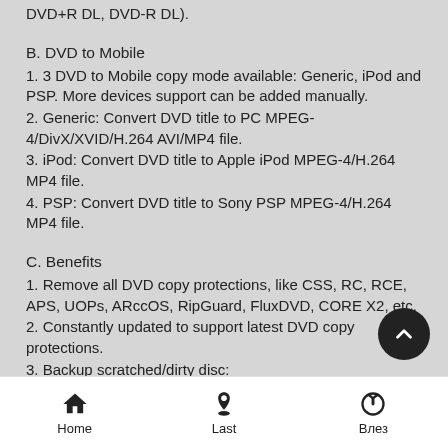DVD+R DL, DVD-R DL).
B. DVD to Mobile
1. 3 DVD to Mobile copy mode available: Generic, iPod and PSP. More devices support can be added manually.
2. Generic: Convert DVD title to PC MPEG-4/DivX/XVID/H.264 AVI/MP4 file.
3. iPod: Convert DVD title to Apple iPod MPEG-4/H.264 MP4 file.
4. PSP: Convert DVD title to Sony PSP MPEG-4/H.264 MP4 file.
C. Benefits
1. Remove all DVD copy protections, like CSS, RC, RCE, APS, UOPs, ARccOS, RipGuard, FluxDVD, CORE X2, etc.
2. Constantly updated to support latest DVD copy protections.
3. Backup scratched/dirty disc:
--- Even if some information (IFO) cannot be read, you can sti...
Home    Last    Влез